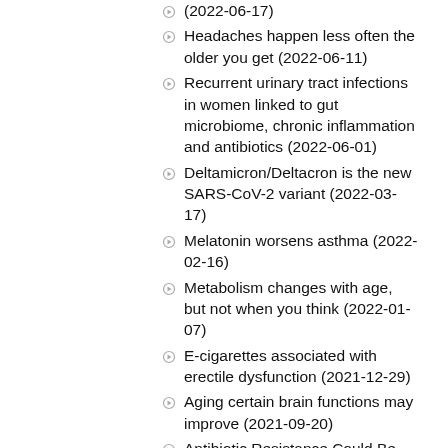(2022-06-17)
Headaches happen less often the older you get (2022-06-11)
Recurrent urinary tract infections in women linked to gut microbiome, chronic inflammation and antibiotics (2022-06-01)
Deltamicron/Deltacron is the new SARS-CoV-2 variant (2022-03-17)
Melatonin worsens asthma (2022-02-16)
Metabolism changes with age, but not when you think (2022-01-07)
E-cigarettes associated with erectile dysfunction (2021-12-29)
Aging certain brain functions may improve (2021-09-20)
Antibiotic Resistance Could Be Caused by Commonly Prescribed Classes of Drugs (2021-08-20)
Taste alterations and oral discomfort in patients receiving chemotherapy (2021-08-14)
Checking your smartphone is as contagious as yawning (2021-07-08)
More fish fats and less high linoleic acid